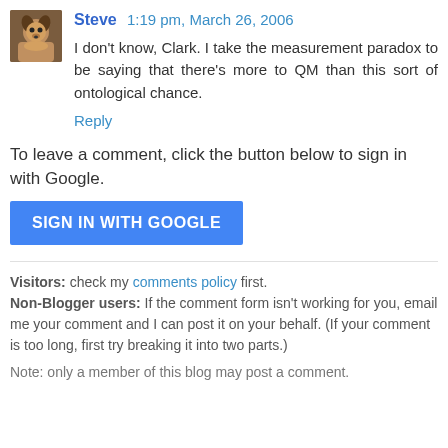[Figure (photo): Small avatar photo of a dog, brownish tones]
Steve  1:19 pm, March 26, 2006
I don't know, Clark. I take the measurement paradox to be saying that there's more to QM than this sort of ontological chance.
Reply
To leave a comment, click the button below to sign in with Google.
SIGN IN WITH GOOGLE
Visitors: check my comments policy first.
Non-Blogger users: If the comment form isn't working for you, email me your comment and I can post it on your behalf. (If your comment is too long, first try breaking it into two parts.)
Note: only a member of this blog may post a comment.